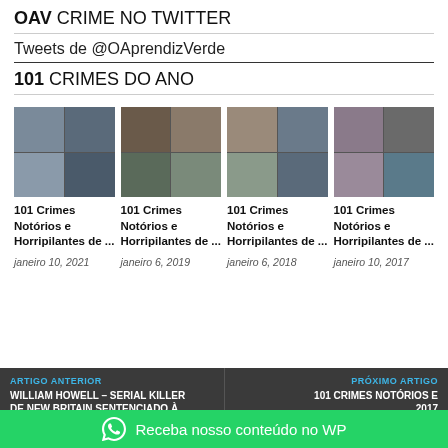OAV CRIME NO TWITTER
Tweets de @OAprendizVerde
101 CRIMES DO ANO
[Figure (photo): Collage of crime-related images]
101 Crimes Notórios e Horripilantes de ...
janeiro 10, 2021
[Figure (photo): Collage of crime-related images]
101 Crimes Notórios e Horripilantes de ...
janeiro 6, 2019
[Figure (photo): Collage of crime-related images]
101 Crimes Notórios e Horripilantes de ...
janeiro 6, 2018
[Figure (photo): Collage of crime-related images]
101 Crimes Notórios e Horripilantes de ...
janeiro 10, 2017
ARTIGO ANTERIOR
WILLIAM HOWELL – SERIAL KILLER DE NEW BRITAIN SENTENCIADO À PRISÃO
PRÓXIMO ARTIGO
101 CRIMES NOTÓRIOS E ... 2017